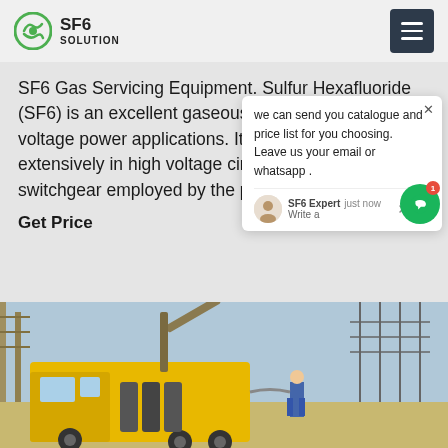SF6 SOLUTION
SF6 Gas Servicing Equipment. Sulfur Hexafluoride (SF6) is an excellent gaseous dielectric for high voltage power applications. It has been used extensively in high voltage circuit breakers and other switchgear employed by the power industry. Applications for SF6
Get Price
we can send you catalogue and price list for you choosing.
Leave us your email or whatsapp .
SF6 Expert   just now
Write a
[Figure (photo): Yellow SF6 gas servicing truck at a power substation with high voltage transmission towers in the background. A worker in blue is visible near the equipment.]